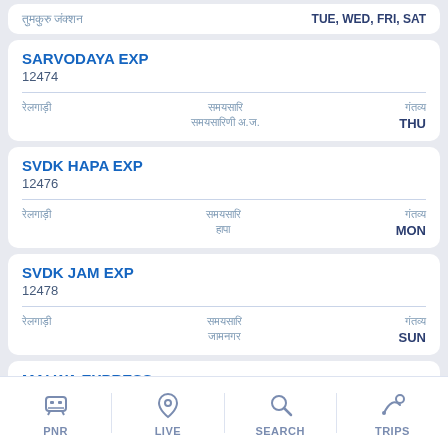तुमकुरु जंक्शन — TUE, WED, FRI, SAT
SARVODAYA EXP
12474
रेलगाड़ी | समयसारि | गंतव्य — THU
SVDK HAPA EXP
12476
रेलगाड़ी | समयसारि | हापा — MON
SVDK JAM EXP
12478
रेलगाड़ी | समयसारि | जामनगर — SUN
MALWA EXPRESS
PNR | LIVE | SEARCH | TRIPS